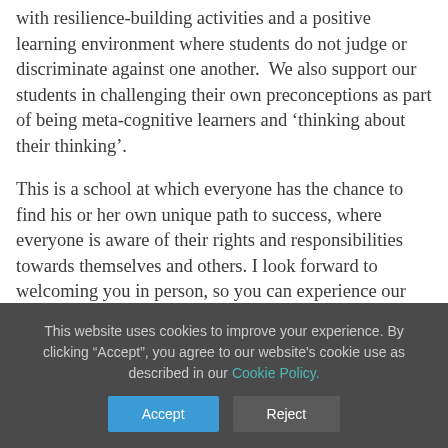with resilience-building activities and a positive learning environment where students do not judge or discriminate against one another.  We also support our students in challenging their own preconceptions as part of being meta-cognitive learners and 'thinking about their thinking'.
This is a school at which everyone has the chance to find his or her own unique path to success, where everyone is aware of their rights and responsibilities towards themselves and others. I look forward to welcoming you in person, so you can experience our
This website uses cookies to improve your experience. By clicking "Accept", you agree to our website's cookie use as described in our Cookie Policy.